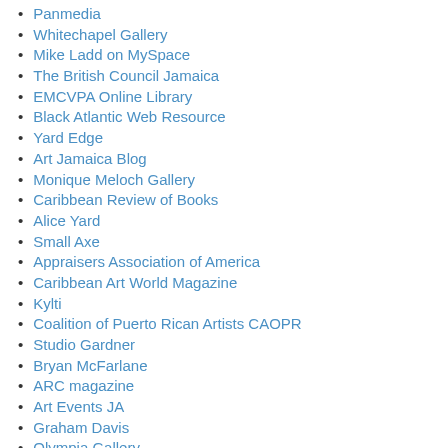Panmedia
Whitechapel Gallery
Mike Ladd on MySpace
The British Council Jamaica
EMCVPA Online Library
Black Atlantic Web Resource
Yard Edge
Art Jamaica Blog
Monique Meloch Gallery
Caribbean Review of Books
Alice Yard
Small Axe
Appraisers Association of America
Caribbean Art World Magazine
Kylti
Coalition of Puerto Rican Artists CAOPR
Studio Gardner
Bryan McFarlane
ARC magazine
Art Events JA
Graham Davis
Olympia Gallery
Salomonalite Journal of Art and Politics